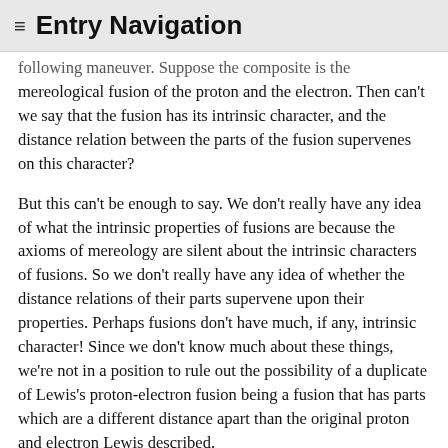≡ Entry Navigation
following maneuver. Suppose the composite is the mereological fusion of the proton and the electron. Then can't we say that the fusion has its intrinsic character, and the distance relation between the parts of the fusion supervenes on this character?
But this can't be enough to say. We don't really have any idea of what the intrinsic properties of fusions are because the axioms of mereology are silent about the intrinsic characters of fusions. So we don't really have any idea of whether the distance relations of their parts supervene upon their properties. Perhaps fusions don't have much, if any, intrinsic character! Since we don't know much about these things, we're not in a position to rule out the possibility of a duplicate of Lewis's proton-electron fusion being a fusion that has parts which are a different distance apart than the original proton and electron Lewis described.
Of course, there's no logical bar to putting forward a theory that posits a rich supply of fusions whose intrinsic ...